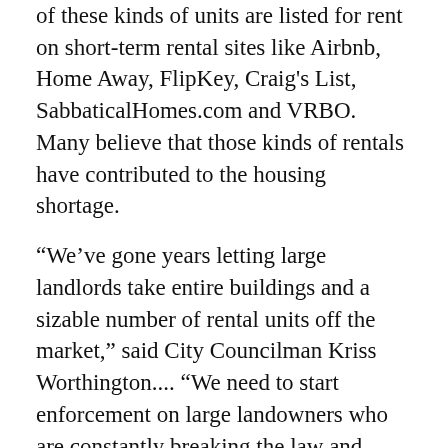of these kinds of units are listed for rent on short-term rental sites like Airbnb, Home Away, FlipKey, Craig's List, SabbaticalHomes.com and VRBO. Many believe that those kinds of rentals have contributed to the housing shortage.
“We’ve gone years letting large landlords take entire buildings and a sizable number of rental units off the market,” said City Councilman Kriss Worthington.... “We need to start enforcement on large landowners who are constantly breaking the law and raking in lots of money... We need to stop that as fast as we can.”
City officials are hoping that the new law gives it